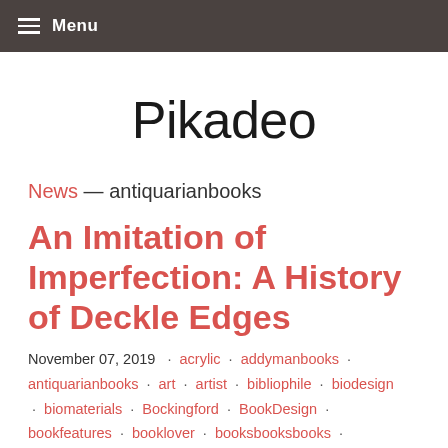Menu
Pikadeo
News — antiquarianbooks
An Imitation of Imperfection: A History of Deckle Edges
November 07, 2019 · acrylic · addymanbooks · antiquarianbooks · art · artist · bibliophile · biodesign · biomaterials · Bockingford · BookDesign · bookfeatures · booklover · booksbooksbooks · bookshelf · bookshop · bookstack · bookstagram ·